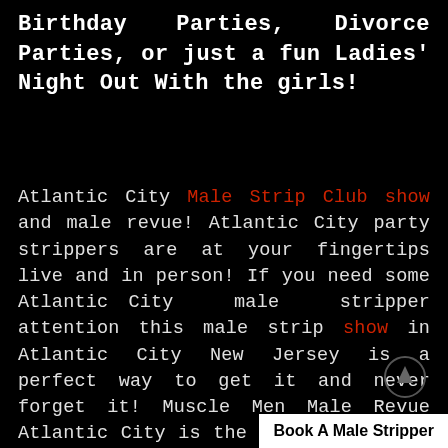Birthday Parties, Divorce Parties, or just a fun Ladies' Night Out With the girls!
Atlantic City Male Strip Club show and male revue! Atlantic City party strippers are at your fingertips live and in person! If you need some Atlantic City male stripper attention this male strip show in Atlantic City New Jersey is a perfect way to get it and never forget it! Muscle Men Male Revue Atlantic City is the ultimate lady's night out experience! The...
Book A Male Stripper